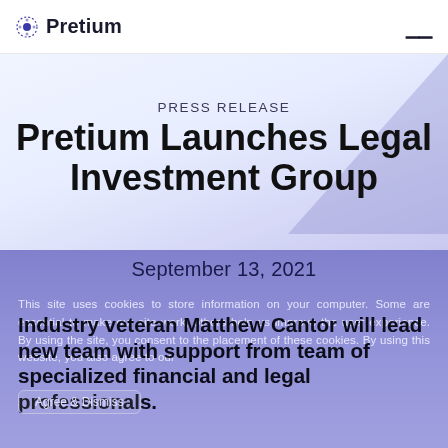Pretium
PRESS RELEASE
Pretium Launches Legal Investment Group
September 13, 2021
This site uses cookies to store information on your computer. Some are essential to make our site work; others help us improve the user experience. By using the site, you consent to the placement of these cookies. By using this website, you also agree to our
Industry veteran Matthew Cantor will lead new team with support from team of specialized financial and legal professionals.
Agree & Dismiss